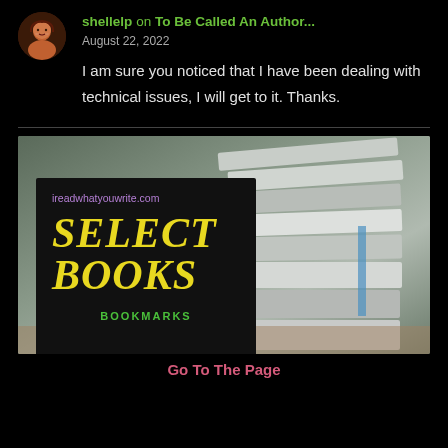shellelp on To Be Called An Author... August 22, 2022
I am sure you noticed that I have been dealing with technical issues, I will get to it. Thanks.
[Figure (logo): SELECT BOOKS BOOKMARKS logo with ireadwhatyouwrite.com URL on a black square overlay, over a background photo of stacked books]
Go To The Page